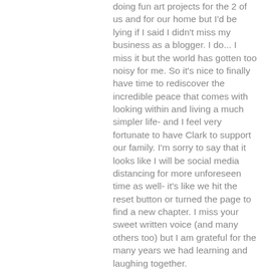doing fun art projects for the 2 of us and for our home but I'd be lying if I said I didn't miss my business as a blogger. I do... I miss it but the world has gotten too noisy for me. So it's nice to finally have time to rediscover the incredible peace that comes with looking within and living a much simpler life- and I feel very fortunate to have Clark to support our family. I'm sorry to say that it looks like I will be social media distancing for more unforeseen time as well- it's like we hit the reset button or turned the page to find a new chapter. I miss your sweet written voice (and many others too) but I am grateful for the many years we had learning and laughing together.